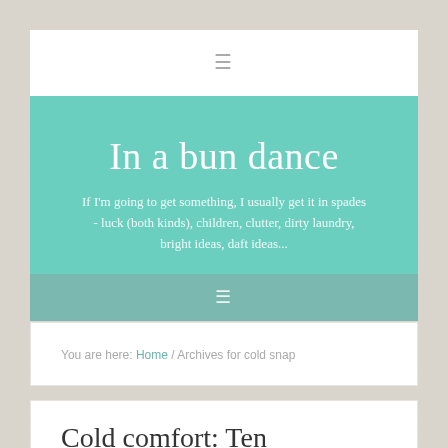≡
In a bun dance
If I'm going to get something, I usually get it in spades - luck (both kinds), children, clutter, dirty laundry, bright ideas, daft ideas...
≡
You are here: Home / Archives for cold snap
Cold comfort: Ten